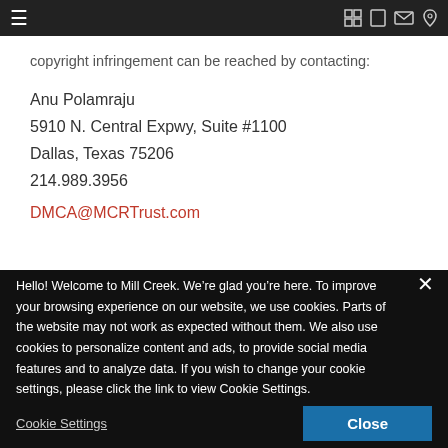Navigation bar with hamburger menu and icons
copyright infringement can be reached by contacting:
Anu Polamraju
5910 N. Central Expwy, Suite #1100
Dallas, Texas 75206
214.989.3956
DMCA@MCRTrust.com
Hello! Welcome to Mill Creek. We’re glad you’re here. To improve your browsing experience on our website, we use cookies. Parts of the website may not work as expected without them. We also use cookies to personalize content and ads, to provide social media features and to analyze data. If you wish to change your cookie settings, please click the link to view Cookie Settings.
Cookie Settings
Close